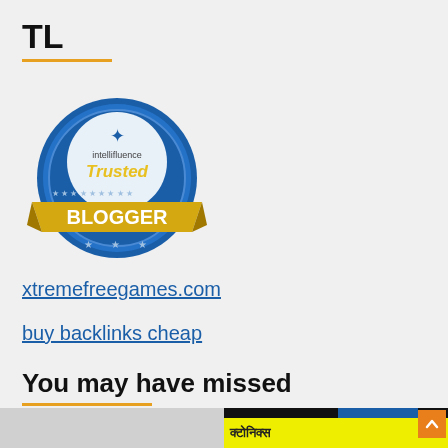TL
[Figure (logo): Intellifluence Trusted Blogger badge — circular blue badge with stars and gold banner reading BLOGGER]
xtremefreegames.com
buy backlinks cheap
You may have missed
[Figure (photo): Left image placeholder (light gray). Right image showing yellow banner with Hindi/Devanagari text, blue strip, and orange button with up-arrow on black background.]